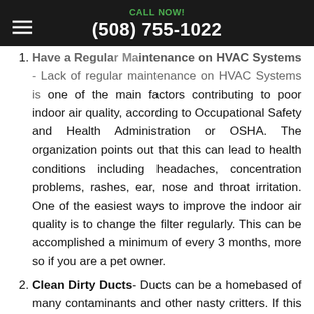CALL NOW!
(508) 755-1022
Have a Regular Maintenance on HVAC Systems - Lack of regular maintenance on HVAC Systems is one of the main factors contributing to poor indoor air quality, according to Occupational Safety and Health Administration or OSHA. The organization points out that this can lead to health conditions including headaches, concentration problems, rashes, ear, nose and throat irritation. One of the easiest ways to improve the indoor air quality is to change the filter regularly. This can be accomplished a minimum of every 3 months, more so if you are a pet owner.
Clean Dirty Ducts- Ducts can be a homebased of many contaminants and other nasty critters. If this is something that has been neglected for a [while] this should be inspected and cleaned. Dust, [mold] and other allergens can worsen asthma and [allergy]